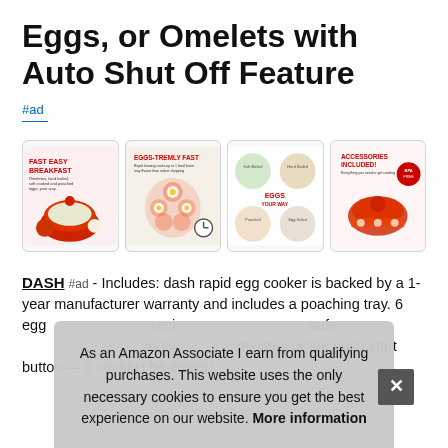Eggs, or Omelets with Auto Shut Off Feature
#ad
[Figure (photo): Four product images of DASH rapid egg cooker showing: fast easy breakfast promo, eggs-tremly fast promo, eggs your way varieties, and accessories included promo]
DASH #ad - Includes: dash rapid egg cooker is backed by a 1-year manufacturer warranty and includes a poaching tray, 6 egg holder tray, omelet tray, measuring cup with recipe booklet, and auto shut off - Food-safe, BPA-free — Individual serving uses only 350 Watts - In minutes or the push start button – it couldn't be easier!.
As an Amazon Associate I earn from qualifying purchases. This website uses the only necessary cookies to ensure you get the best experience on our website. More information